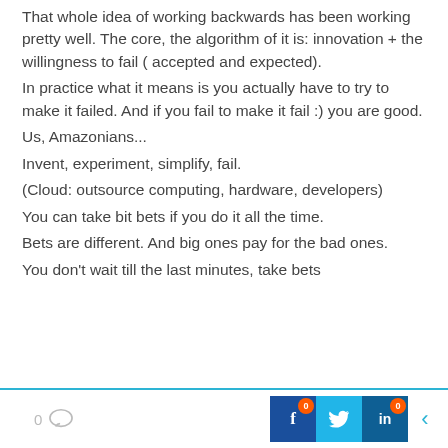That whole idea of working backwards has been working pretty well. The core, the algorithm of it is: innovation + the willingness to fail ( accepted and expected).
In practice what it means is you actually have to try to make it failed. And if you fail to make it fail :) you are good.
Us, Amazonians...
Invent, experiment, simplify, fail.
(Cloud: outsource computing, hardware, developers)
You can take bit bets if you do it all the time.
Bets are different. And big ones pay for the bad ones.
You don't wait till the last minutes, take bets
0 [comment icon] [Facebook 0] [Twitter] [LinkedIn 0] [<]